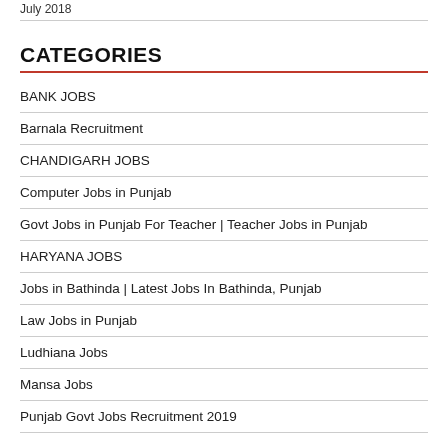July 2018
CATEGORIES
BANK JOBS
Barnala Recruitment
CHANDIGARH JOBS
Computer Jobs in Punjab
Govt Jobs in Punjab For Teacher | Teacher Jobs in Punjab
HARYANA JOBS
Jobs in Bathinda | Latest Jobs In Bathinda, Punjab
Law Jobs in Punjab
Ludhiana Jobs
Mansa Jobs
Punjab Govt Jobs Recruitment 2019